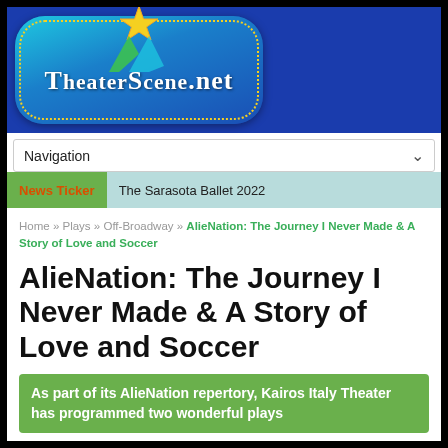[Figure (logo): TheaterScene.net logo — blue cloud shape with dotted yellow border, star on top, two arrow shapes, white serif text reading TheaterScene.net]
Navigation
News Ticker   The Sarasota Ballet 2022
Home » Plays » Off-Broadway » AlieNation: The Journey I Never Made & A Story of Love and Soccer
AlieNation: The Journey I Never Made & A Story of Love and Soccer
As part of its AlieNation repertory, Kairos Italy Theater has programmed two wonderful plays